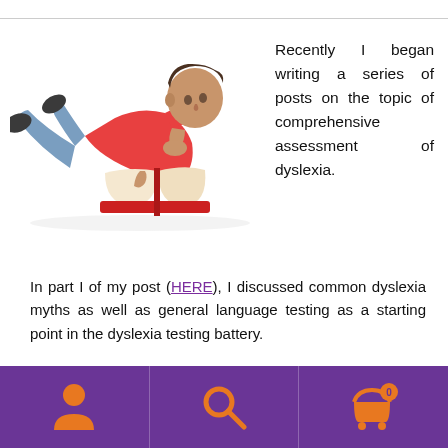[Figure (photo): A boy lying on the floor reading a red book, wearing a red shirt and jeans]
Recently I began writing a series of posts on the topic of comprehensive assessment of dyslexia.
In part I of my post (HERE), I discussed common dyslexia myths as well as general language testing as a starting point in the dyslexia testing battery.
In part II I detailed the next two steps in dyslexia
[Figure (infographic): Purple navigation bar with person icon, search icon, and shopping cart icon with badge showing 0]